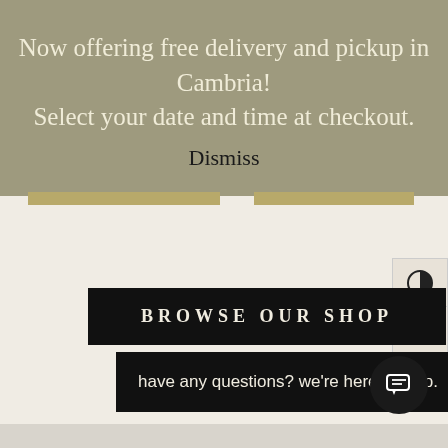Now offering free delivery and pickup in Cambria!
Select your date and time at checkout.
Dismiss
BROWSE OUR SHOP
have any questions? we're here to help.